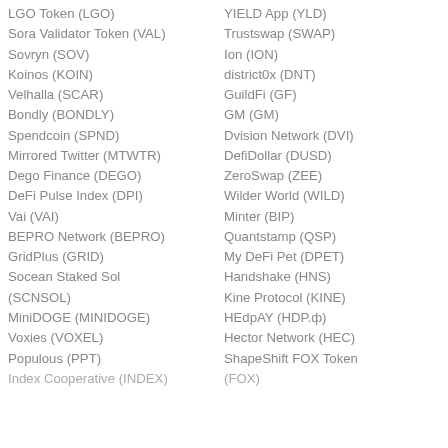LGO Token (LGO)
Sora Validator Token (VAL)
Sovryn (SOV)
Koinos (KOIN)
Velhalla (SCAR)
Bondly (BONDLY)
Spendcoin (SPND)
Mirrored Twitter (MTWTR)
Dego Finance (DEGO)
DeFi Pulse Index (DPI)
Vai (VAI)
BEPRO Network (BEPRO)
GridPlus (GRID)
Socean Staked Sol (SCNSOL)
MiniDOGE (MINIDOGE)
Voxies (VOXEL)
Populous (PPT)
Index Cooperative (INDEX)
YIELD App (YLD)
Trustswap (SWAP)
Ion (ION)
district0x (DNT)
GuildFi (GF)
GM (GM)
Dvision Network (DVI)
DefiDollar (DUSD)
ZeroSwap (ZEE)
Wilder World (WILD)
Minter (BIP)
Quantstamp (QSP)
My DeFi Pet (DPET)
Handshake (HNS)
Kine Protocol (KINE)
HEdpAY (HDP.ф)
Hector Network (HEC)
ShapeShift FOX Token (FOX)